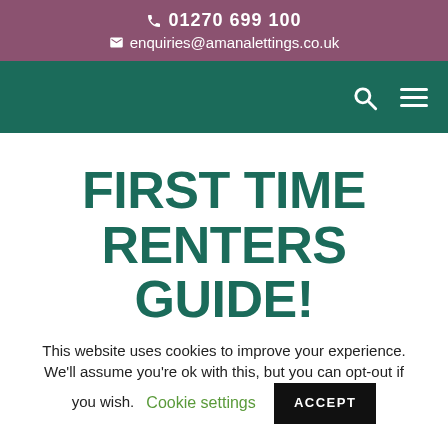📞 01270 699 100
✉ enquiries@amanalettings.co.uk
FIRST TIME RENTERS GUIDE!
This website uses cookies to improve your experience. We'll assume you're ok with this, but you can opt-out if you wish. Cookie settings  ACCEPT